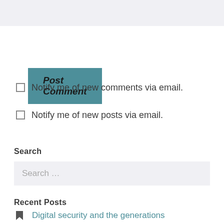[Figure (screenshot): Light gray textarea input box at the top of the page]
Post Comment
Notify me of new comments via email.
Notify me of new posts via email.
Search
Search ...
Recent Posts
Digital security and the generations